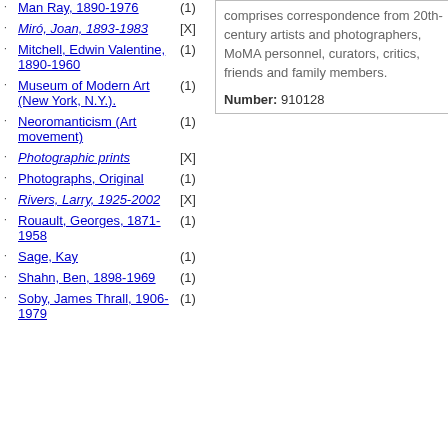Man Ray, 1890-1976 (1)
Miró, Joan, 1893-1983 [X]
Mitchell, Edwin Valentine, 1890-1960 (1)
Museum of Modern Art (New York, N.Y.). (1)
Neoromanticism (Art movement) (1)
Photographic prints [X]
Photographs, Original (1)
Rivers, Larry, 1925-2002 [X]
Rouault, Georges, 1871-1958 (1)
Sage, Kay (1)
Shahn, Ben, 1898-1969 (1)
Soby, James Thrall, 1906-1979 (1)
comprises correspondence from 20th-century artists and photographers, MoMA personnel, curators, critics, friends and family members.
Number: 910128